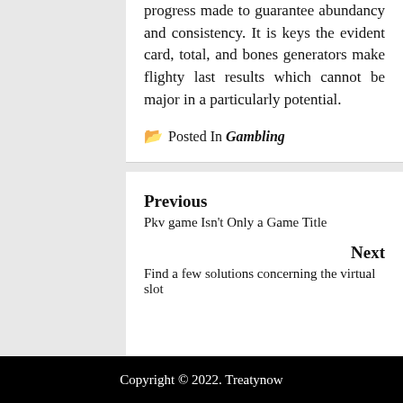progress made to guarantee abundancy and consistency. It is keys the evident card, total, and bones generators make flighty last results which cannot be major in a particularly potential.
Posted In Gambling
Previous
Pkv game Isn't Only a Game Title
Next
Find a few solutions concerning the virtual slot
Copyright © 2022. Treatynow